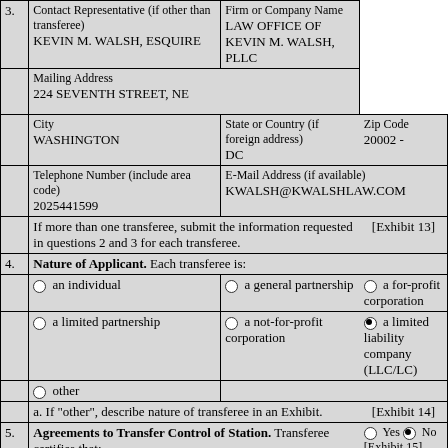| 3. | Contact Representative (if other than transferee)
KEVIN M. WALSH, ESQUIRE | Firm or Company Name
LAW OFFICE OF KEVIN M. WALSH, PLLC |
|  | Mailing Address
224 SEVENTH STREET, NE |  |
|  | City
WASHINGTON | State or Country (if foreign address)
DC | Zip Code
20002 - |
|  | Telephone Number (include area code)
2025441599 | E-Mail Address (if available)
KWALSH@KWALSHLAW.COM |
|  | If more than one transferee, submit the information requested in questions 2 and 3 for each transferee. | [Exhibit 13] |
| 4. | Nature of Applicant. Each transferee is: |
|  | an individual | a general partnership | a for-profit corporation |
|  | a limited partnership | a not-for-profit corporation | a limited liability company (LLC/LC) [SELECTED] |
|  | other |  |  |
|  | a. If "other", describe nature of transferee in an Exhibit. | [Exhibit 14] |
| 5. | Agreements to Transfer Control of Station. Transferee certifies that: | Yes / No [No selected]
[Exhibit 15] |
|  | a. the written agreements in the licensee/permittee's public inspection file and submitted to the Commission |  |